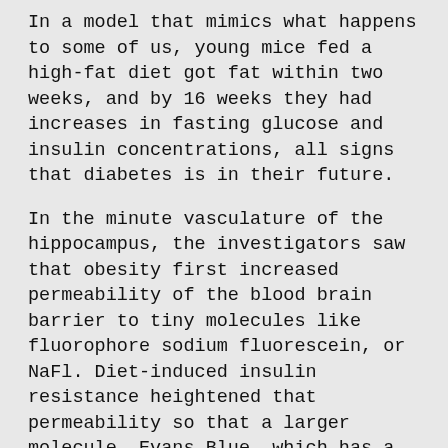In a model that mimics what happens to some of us, young mice fed a high-fat diet got fat within two weeks, and by 16 weeks they had increases in fasting glucose and insulin concentrations, all signs that diabetes is in their future.
In the minute vasculature of the hippocampus, the investigators saw that obesity first increased permeability of the blood brain barrier to tiny molecules like fluorophore sodium fluorescein, or NaFl. Diet-induced insulin resistance heightened that permeability so that a larger molecule, Evans Blue, which has a high affinity for serum albumin, the most abundant protein in blood, also could get through.
When they looked with electron microscopy, they saw a changed landscape. Resulting diabetes promoted shrinkage of the usually tight junctions between endothelial cells and actual holes in those cells. They